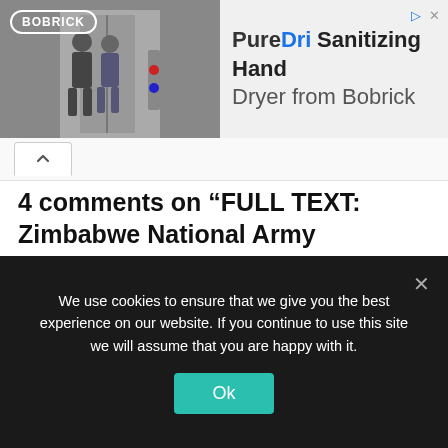[Figure (illustration): Advertisement banner for Bobrick PureDri Sanitizing Hand Dryer, showing Bobrick logo on left with photo of people near an elevator, and product name on right side]
4 comments on “FULL TEXT: Zimbabwe National Army Recruitment Notice”
Pingback: Zimbabwe National Army Recruitment Notice • Pindula News – Nice-Space.com
Nhira Pationate says:
March 20, 2021 at 9:02 pm
Yes my is not published
We use cookies to ensure that we give you the best experience on our website. If you continue to use this site we will assume that you are happy with it.